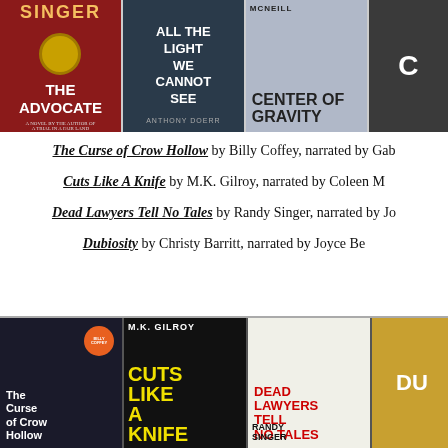[Figure (illustration): Row of book covers including The Advocate by Randy Singer, All the Light We Cannot See by Anthony Doerr, Center of Gravity by McNeill, and a partial fourth cover]
The Curse of Crow Hollow by Billy Coffey, narrated by Gab...
Cuts Like A Knife by M.K. Gilroy, narrated by Coleen M...
Dead Lawyers Tell No Tales by Randy Singer, narrated by Jo...
Dubiosity by Christy Barritt, narrated by Joyce Be...
[Figure (illustration): Row of book covers including The Curse of Crow Hollow by Billy Coffey, Cuts Like A Knife by M.K. Gilroy, Dead Lawyers Tell No Tales by Randy Singer, and a partial fourth cover]